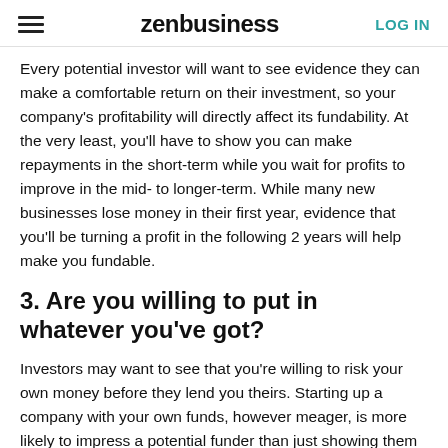zenbusiness | LOG IN
Every potential investor will want to see evidence they can make a comfortable return on their investment, so your company's profitability will directly affect its fundability. At the very least, you'll have to show you can make repayments in the short-term while you wait for profits to improve in the mid- to longer-term. While many new businesses lose money in their first year, evidence that you'll be turning a profit in the following 2 years will help make you fundable.
3. Are you willing to put in whatever you've got?
Investors may want to see that you're willing to risk your own money before they lend you theirs. Starting up a company with your own funds, however meager, is more likely to impress a potential funder than just showing them an idea on paper. If you don't have money of your own, friends and family may be able to provide valuable seed